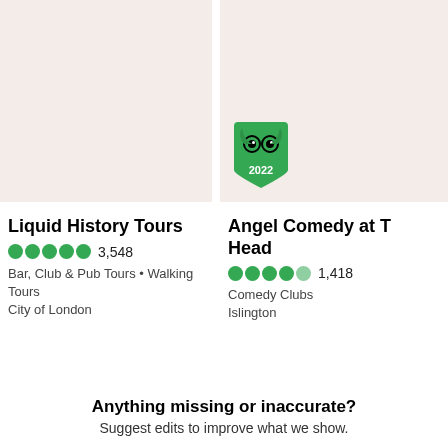[Figure (photo): Left card image: beige/pink background placeholder for Liquid History Tours]
[Figure (photo): Right card image: beige/pink background placeholder for Angel Comedy at The King's Head, with a TripAdvisor 2022 Travellers' Choice badge]
Liquid History Tours
3,548
Bar, Club & Pub Tours • Walking Tours
City of London
Angel Comedy at T Head
1,418
Comedy Clubs
Islington
Anything missing or inaccurate?
Suggest edits to improve what we show.